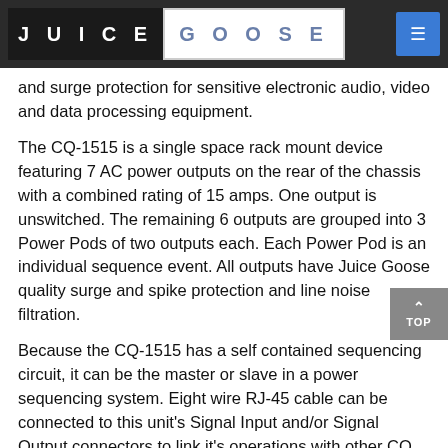JUICE GOOSE
and surge protection for sensitive electronic audio, video and data processing equipment.
The CQ-1515 is a single space rack mount device featuring 7 AC power outputs on the rear of the chassis with a combined rating of 15 amps. One output is unswitched. The remaining 6 outputs are grouped into 3 Power Pods of two outputs each. Each Power Pod is an individual sequence event. All outputs have Juice Goose quality surge and spike protection and line noise filtration.
Because the CQ-1515 has a self contained sequencing circuit, it can be the master or slave in a power sequencing system. Eight wire RJ-45 cable can be connected to this unit's Signal Input and/or Signal Output connectors to link it's operations with other CQ or control devices.